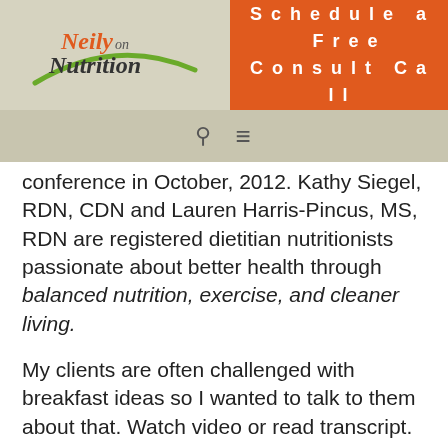[Figure (logo): Neily on Nutrition logo with green swoosh]
Schedule a Free Consult Call
conference in October, 2012. Kathy Siegel, RDN, CDN and Lauren Harris-Pincus, MS, RDN are registered dietitian nutritionists passionate about better health through balanced nutrition, exercise, and cleaner living.
My clients are often challenged with breakfast ideas so I wanted to talk to them about that. Watch video or read transcript.
| Speaker | Dialogue |
| --- | --- |
| Neily: | I know you guys have some awesome breakfast ideas. Could |